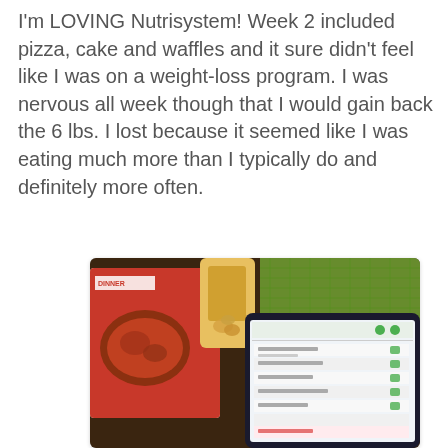I'm LOVING Nutrisystem! Week 2 included pizza, cake and waffles and it sure didn't feel like I was on a weight-loss program. I was nervous all week though that I would gain back the 6 lbs. I lost because it seemed like I was eating much more than I typically do and definitely more often.
[Figure (photo): Photo of a Nutrisystem dinner box and a snack bag on a dark wooden table, next to a tablet device showing a meal tracking app with green checkboxes and a green mesh placemat visible in the background.]